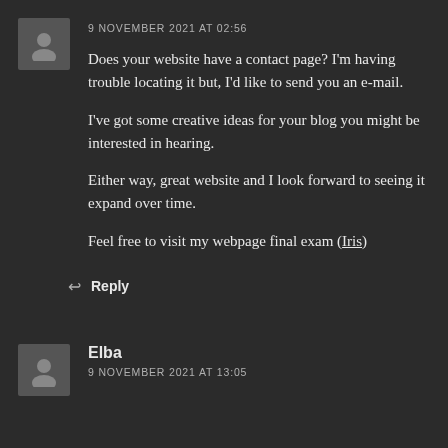9 NOVEMBER 2021 AT 02:56
Does your website have a contact page? I'm having trouble locating it but, I'd like to send you an e-mail.
I've got some creative ideas for your blog you might be interested in hearing.
Either way, great website and I look forward to seeing it expand over time.
Feel free to visit my webpage final exam (Iris)
Reply
Elba
9 NOVEMBER 2021 AT 13:05